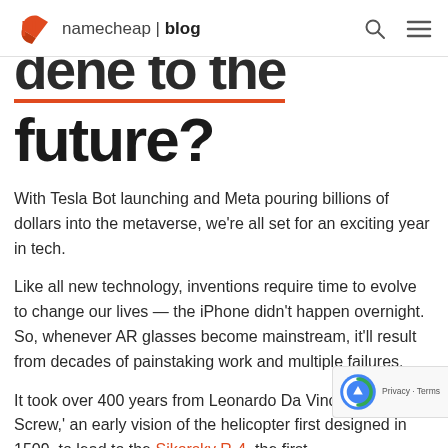namecheap | blog
…dene to the future?
With Tesla Bot launching and Meta pouring billions of dollars into the metaverse, we're all set for an exciting year in tech.
Like all new technology, inventions require time to evolve to change our lives — the iPhone didn't happen overnight. So, whenever AR glasses become mainstream, it'll result from decades of painstaking work and multiple failures.
It took over 400 years from Leonardo Da Vinci's 'T Aerial Screw,' an early vision of the helicopter first designed in 1509, to lead to the Sikorsky R-4, the first